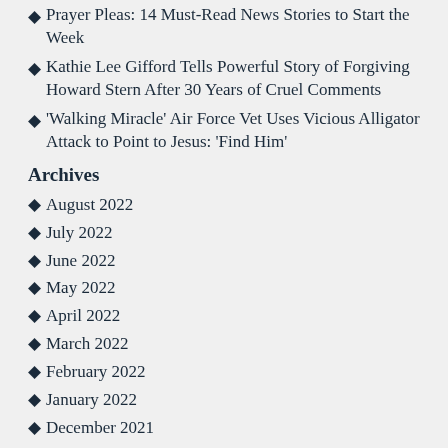Prayer Pleas: 14 Must-Read News Stories to Start the Week
Kathie Lee Gifford Tells Powerful Story of Forgiving Howard Stern After 30 Years of Cruel Comments
‘Walking Miracle’ Air Force Vet Uses Vicious Alligator Attack to Point to Jesus: ‘Find Him’
Archives
August 2022
July 2022
June 2022
May 2022
April 2022
March 2022
February 2022
January 2022
December 2021
November 2021
October 2021
September 2021